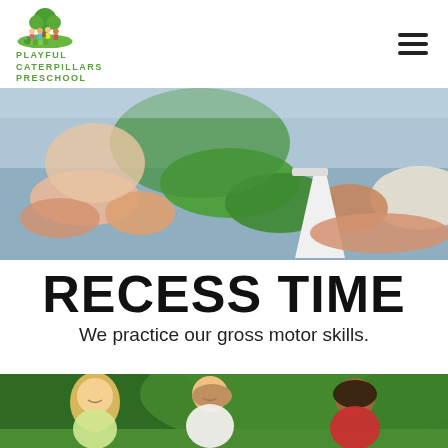[Figure (logo): Playful Caterpillars Preschool logo with cartoon children illustration and green text]
[Figure (photo): Close-up photo of children's hands and arms on a table, with a white cup, doing a craft activity]
RECESS TIME
We practice our gross motor skills.
[Figure (photo): Photo of three children running and playing outside on grass — a blonde girl, a boy in white, and a boy in a red polo shirt]